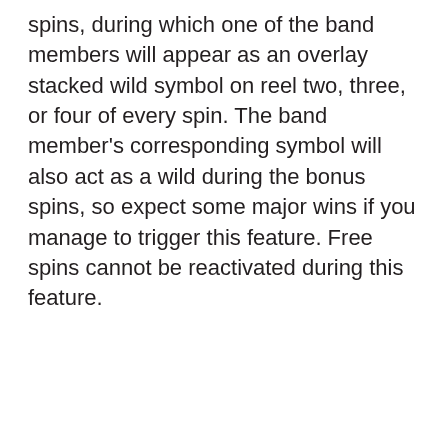spins, during which one of the band members will appear as an overlay stacked wild symbol on reel two, three, or four of every spin. The band member's corresponding symbol will also act as a wild during the bonus spins, so expect some major wins if you manage to trigger this feature. Free spins cannot be reactivated during this feature.